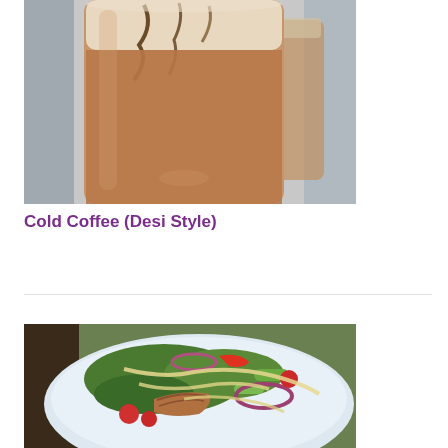[Figure (photo): A tall glass of iced cold coffee with chocolate drizzle, light brown creamy color, on a blurred background with another similar drink]
Cold Coffee (Desi Style)
[Figure (photo): A bowl of fresh green salad with grilled chicken, cherry tomatoes, cucumber, red onion rings, and creamy dressing drizzled on top]